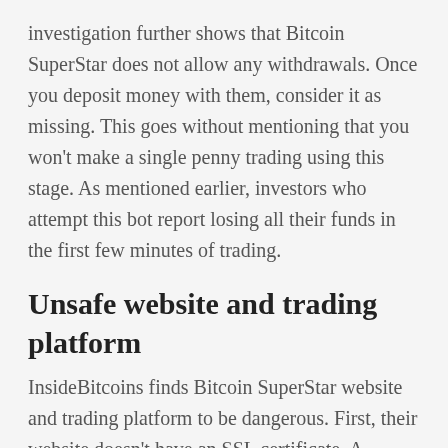investigation further shows that Bitcoin SuperStar does not allow any withdrawals. Once you deposit money with them, consider it as missing. This goes without mentioning that you won't make a single penny trading using this stage. As mentioned earlier, investors who attempt this bot report losing all their funds in the first few minutes of trading.
Unsafe website and trading platform
InsideBitcoins finds Bitcoin SuperStar website and trading platform to be dangerous. First, their website doesn't have an SSL certificate. A Secure Socket Layer (SSL) is an online protocol